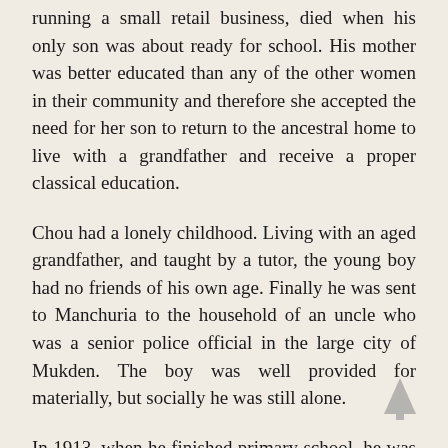running a small retail business, died when his only son was about ready for school. His mother was better educated than any of the other women in their community and therefore she accepted the need for her son to return to the ancestral home to live with a grandfather and receive a proper classical education.
Chou had a lonely childhood. Living with an aged grandfather, and taught by a tutor, the young boy had no friends of his own age. Finally he was sent to Manchuria to the household of an uncle who was a senior police official in the large city of Mukden. The boy was well provided for materially, but socially he was still alone.
In 1913, when he finished primary school, he was sent to Tientsin to attend Nankai Middle School (that is, high school). This exceptional boarding school was founded and run by an outstanding Chinese Christian, Chang Po-